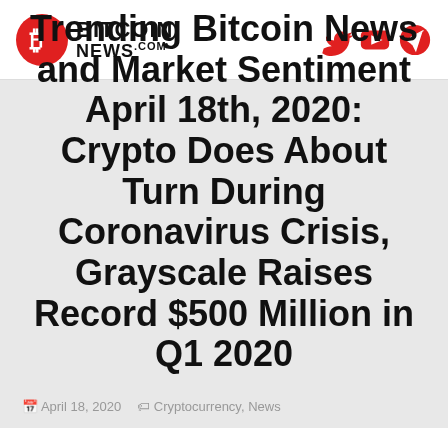Bitcoin News .com
Trending Bitcoin News and Market Sentiment April 18th, 2020: Crypto Does About Turn During Coronavirus Crisis, Grayscale Raises Record $500 Million in Q1 2020
April 18, 2020  Cryptocurrency, News